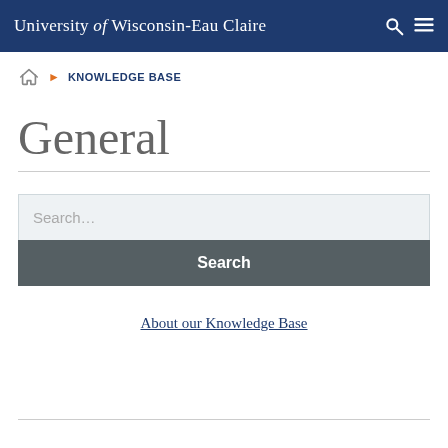University of Wisconsin-Eau Claire
KNOWLEDGE BASE
General
Search...
Search
About our Knowledge Base